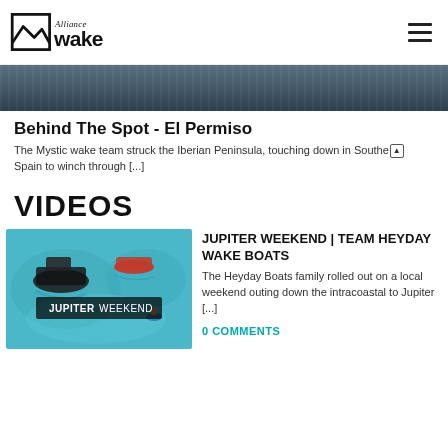[Figure (logo): Alliance Wake logo with house/mountain icon and cursive 'Alliance' above bold 'wake' text]
[Figure (photo): Hero banner image showing dark water surface from above]
Behind The Spot - El Permiso
The Mystic wake team struck the Iberian Peninsula, touching down in Southe⬆ Spain to winch through [...]
VIDEOS
[Figure (photo): Aerial photo of boats on turquoise water with 'JUPITER WEEKEND' text overlay]
JUPITER WEEKEND | TEAM HEYDAY WAKE BOATS
The Heyday Boats family rolled out on a local weekend outing down the intracoastal to Jupiter [...]
0 COMMENTS